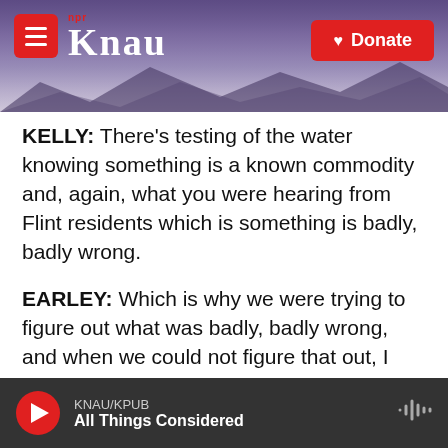[Figure (screenshot): KNAU NPR radio station website header with purple mountain background, red hamburger menu button, KNAU logo in white serif font with NPR label in red, and red Donate button with heart icon on the right.]
KELLY: There's testing of the water knowing something is a known commodity and, again, what you were hearing from Flint residents which is something is badly, badly wrong.
EARLEY: Which is why we were trying to figure out what was badly, badly wrong, and when we could not figure that out, I brought in another set of experts to help us figure that out.
KELLY: The decision to switch the water supply was a financial one. You have been criticized for, perhaps, prioritizing saving money over protecting
KNAU/KPUB
All Things Considered